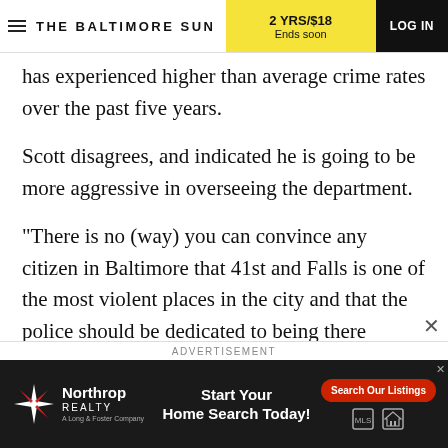THE BALTIMORE SUN | 2 YRS/$18 Ends soon | LOG IN
has experienced higher than average crime rates over the past five years.
Scott disagrees, and indicated he is going to be more aggressive in overseeing the department.
“There is no (way) you can convince any citizen in Baltimore that 41st and Falls is one of the most violent places in the city and that the police should be dedicated to being there because there’s so much violence happening there,” Scott said. “There were
ADVERTISEMENT
[Figure (other): Northrop Realty advertisement banner with logo, 'Start Your Home Search Today!' text, and 'Search Our Listings' button]